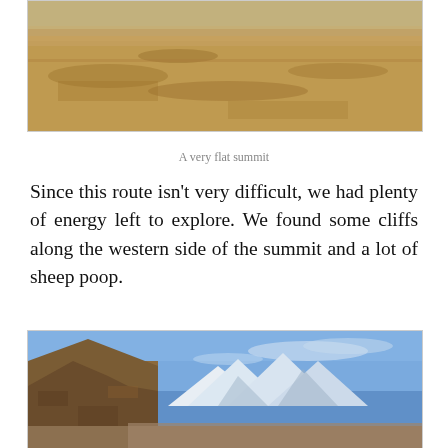[Figure (photo): Panoramic photo of a very flat, brown, arid summit landscape with dry grass and sparse terrain]
A very flat summit
Since this route isn't very difficult, we had plenty of energy left to explore. We found some cliffs along the western side of the summit and a lot of sheep poop.
[Figure (photo): Photo of rocky cliffs on the left side with snow-covered mountain peaks visible in the background under a blue sky]